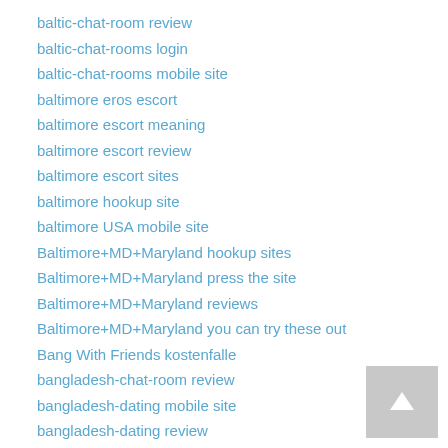baltic-chat-room review
baltic-chat-rooms login
baltic-chat-rooms mobile site
baltimore eros escort
baltimore escort meaning
baltimore escort review
baltimore escort sites
baltimore hookup site
baltimore USA mobile site
Baltimore+MD+Maryland hookup sites
Baltimore+MD+Maryland press the site
Baltimore+MD+Maryland reviews
Baltimore+MD+Maryland you can try these out
Bang With Friends kostenfalle
bangladesh-chat-room review
bangladesh-dating mobile site
bangladesh-dating review